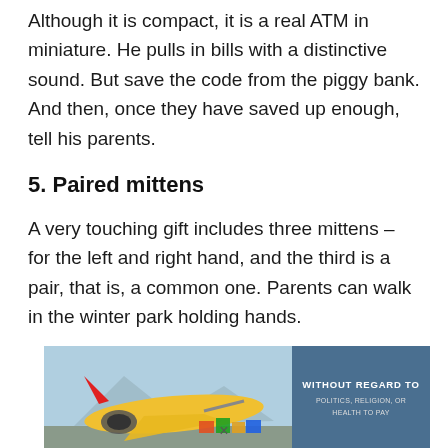Although it is compact, it is a real ATM in miniature. He pulls in bills with a distinctive sound. But save the code from the piggy bank. And then, once they have saved up enough, tell his parents.
5. Paired mittens
A very touching gift includes three mittens – for the left and right hand, and the third is a pair, that is, a common one. Parents can walk in the winter park holding hands.
[Figure (photo): Advertisement banner showing an airplane being loaded with cargo on the tarmac, with a blue overlay panel on the right reading WITHOUT REGARD TO POLITICS, RELIGION, OR HEALTH TO PAY]
×